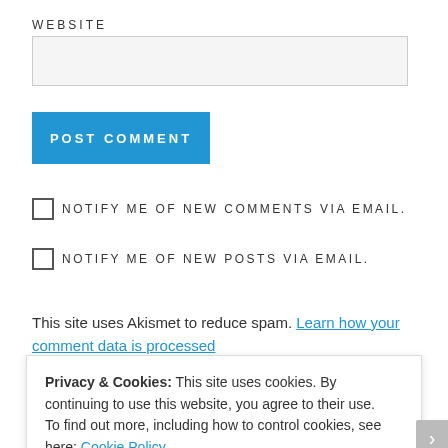WEBSITE
[Figure (other): Text input field for website URL]
POST COMMENT
NOTIFY ME OF NEW COMMENTS VIA EMAIL.
NOTIFY ME OF NEW POSTS VIA EMAIL.
This site uses Akismet to reduce spam. Learn how your comment data is processed
Privacy & Cookies: This site uses cookies. By continuing to use this website, you agree to their use.
To find out more, including how to control cookies, see here: Cookie Policy
Close and accept